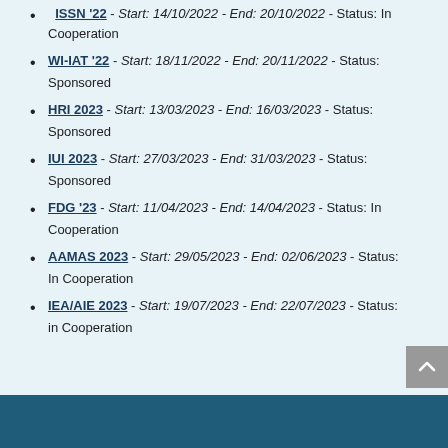ISSN '22 - Start: 14/10/2022 - End: 20/10/2022 - Status: In Cooperation
WI-IAT '22 - Start: 18/11/2022 - End: 20/11/2022 - Status: Sponsored
HRI 2023 - Start: 13/03/2023 - End: 16/03/2023 - Status: Sponsored
IUI 2023 - Start: 27/03/2023 - End: 31/03/2023 - Status: Sponsored
FDG '23 - Start: 11/04/2023 - End: 14/04/2023 - Status: In Cooperation
AAMAS 2023 - Start: 29/05/2023 - End: 02/06/2023 - Status: In Cooperation
IEA/AIE 2023 - Start: 19/07/2023 - End: 22/07/2023 - Status: in Cooperation